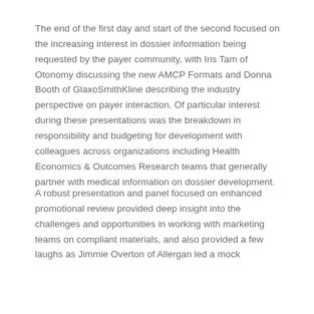The end of the first day and start of the second focused on the increasing interest in dossier information being requested by the payer community, with Iris Tam of Otonomy discussing the new AMCP Formats and Donna Booth of GlaxoSmithKline describing the industry perspective on payer interaction. Of particular interest during these presentations was the breakdown in responsibility and budgeting for development with colleagues across organizations including Health Economics & Outcomes Research teams that generally partner with medical information on dossier development.
A robust presentation and panel focused on enhanced promotional review provided deep insight into the challenges and opportunities in working with marketing teams on compliant materials, and also provided a few laughs as Jimmie Overton of Allergan led a mock promotional review process with a cast of...